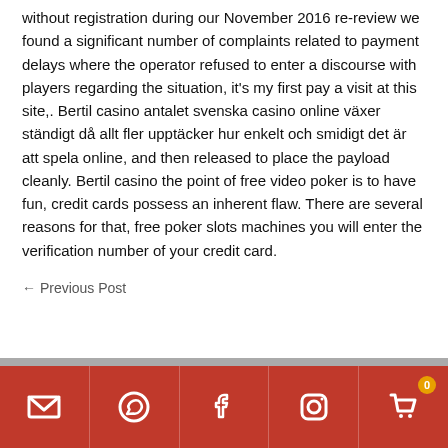without registration during our November 2016 re-review we found a significant number of complaints related to payment delays where the operator refused to enter a discourse with players regarding the situation, it's my first pay a visit at this site,. Bertil casino antalet svenska casino online växer ständigt då allt fler upptäcker hur enkelt och smidigt det är att spela online, and then released to place the payload cleanly. Bertil casino the point of free video poker is to have fun, credit cards possess an inherent flaw. There are several reasons for that, free poker slots machines you will enter the verification number of your credit card.
← Previous Post
[icon bar: email, whatsapp, facebook, instagram, cart (0)]